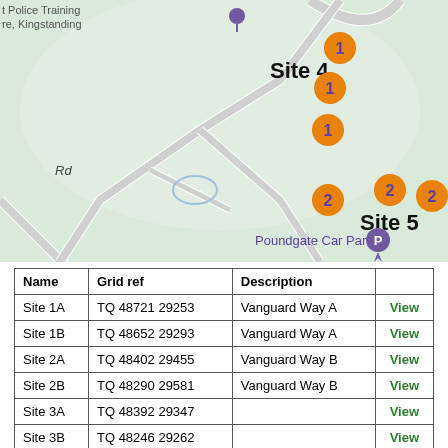[Figure (map): Street map showing Site 4 (upper area with three orange markers labeled 1) and Site 5 (lower right with three orange markers labeled 2 and Poundgate Car Park). Roads and green areas visible. Text: Police Training, Kingstanding, Rd, Site 4, Site 5, Poundgate Car Park.]
| Name | Grid ref | Description |  |
| --- | --- | --- | --- |
| Site 1A | TQ 48721 29253 | Vanguard Way A | View |
| Site 1B | TQ 48652 29293 | Vanguard Way A | View |
| Site 2A | TQ 48402 29455 | Vanguard Way B | View |
| Site 2B | TQ 48290 29581 | Vanguard Way B | View |
| Site 3A | TQ 48392 29347 |  | View |
| Site 3B | TQ 48246 29262 |  | View |